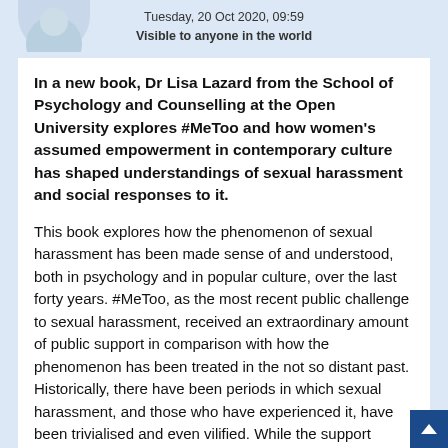[Figure (illustration): Partial avatar/profile image at top left, circular shape clipped at top]
Tuesday, 20 Oct 2020, 09:59
Visible to anyone in the world
In a new book, Dr Lisa Lazard from the School of Psychology and Counselling at the Open University explores #MeToo and how women's assumed empowerment in contemporary culture has shaped understandings of sexual harassment and social responses to it.
This book explores how the phenomenon of sexual harassment has been made sense of and understood, both in psychology and in popular culture, over the last forty years. #MeToo, as the most recent public challenge to sexual harassment, received an extraordinary amount of public support in comparison with how the phenomenon has been treated in the not so distant past. Historically, there have been periods in which sexual harassment, and those who have experienced it, have been trivialised and even vilified. While the support #MeToo received can be seen an evidence of progressive social change, it is also the case that #MeToo highlighted tensions and contradictions in conceptualisations